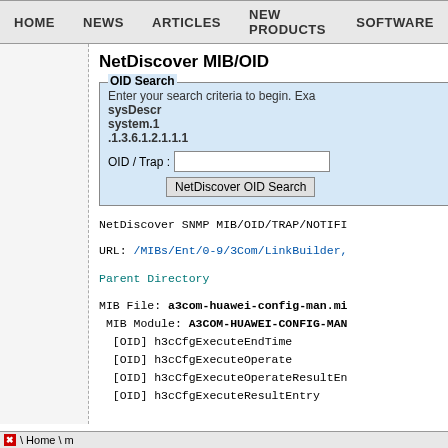HOME   NEWS   ARTICLES   NEW PRODUCTS   SOFTWARE
NetDiscover MIB/OID
OID Search
Enter your search criteria to begin. Example:
sysDescr
system.1
.1.3.6.1.2.1.1.1
OID / Trap :  [input field]
[NetDiscover OID Search button]
NetDiscover SNMP MIB/OID/TRAP/NOTIFI
URL: /MIBs/Ent/0-9/3Com/LinkBuilder,
Parent Directory
MIB File: a3com-huawei-config-man.mi
 MIB Module: A3COM-HUAWEI-CONFIG-MAN
  [OID] h3cCfgExecuteEndTime
  [OID] h3cCfgExecuteOperate
  [OID] h3cCfgExecuteOperateResultEn
  [OID] h3cCfgExecuteResultEntry
\ Home \ m